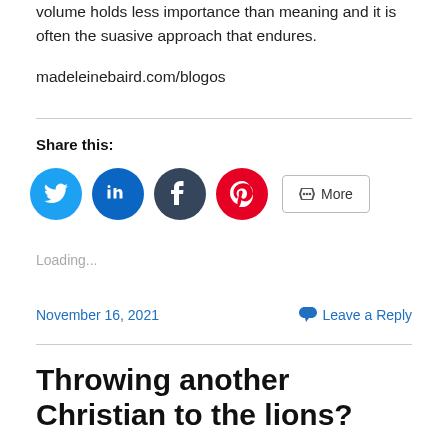volume holds less importance than meaning and it is often the suasive approach that endures.
madeleinebaird.com/blogos
Share this:
[Figure (other): Social sharing icons: Twitter (blue), LinkedIn (blue), Tumblr (dark), Pinterest (red), and a More button]
Loading...
November 16, 2021
Leave a Reply
Throwing another Christian to the lions?